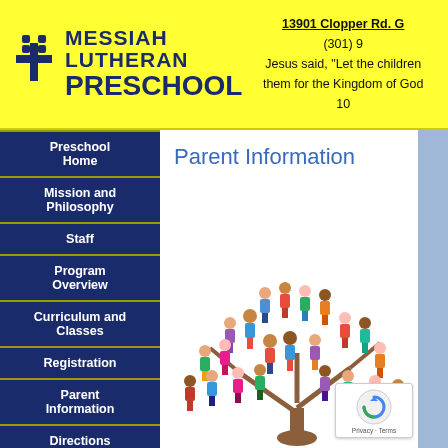Messiah Lutheran Preschool — 13901 Clopper Rd. G, (301) 9… Jesus said, "Let the children come … them for the Kingdom of God … 10…
Preschool Home
Mission and Philosophy
Staff
Program Overview
Curriculum and Classes
Registration
Parent Information
Directions
Contact Us
Parent Information
[Figure (illustration): Colorful illustration of diverse children forming a tree shape, representing community and family.]